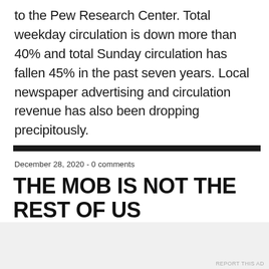to the Pew Research Center. Total weekday circulation is down more than 40% and total Sunday circulation has fallen 45% in the past seven years. Local newspaper advertising and circulation revenue has also been dropping precipitously.
December 28, 2020 - 0 comments
THE MOB IS NOT THE REST OF US
Advertisements